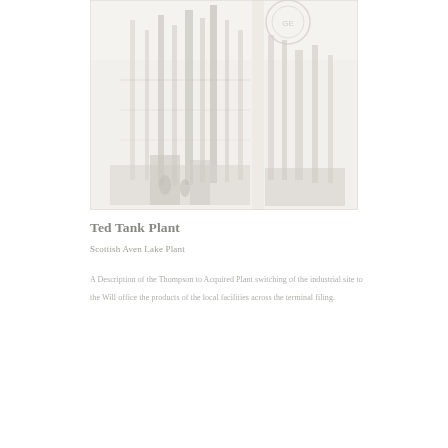[Figure (photo): Faded black-and-white photograph of an industrial plant facility with tall structures, towers, and equipment. The image appears very faint/washed out.]
Ted Tank Plant
Scottish Aven Lake Plant
A Description of the Thompson to Acquired Plant switching of the industrial site to the Will office the products of the local facilities across the terminal filing.